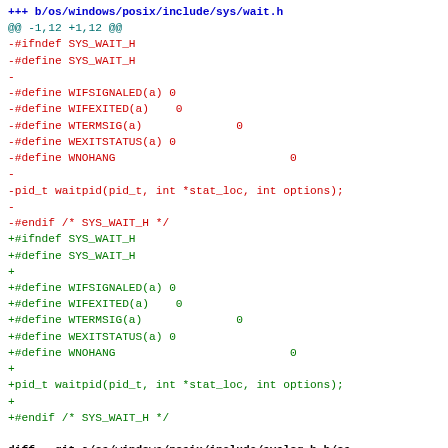+++ b/os/windows/posix/include/sys/wait.h
@@ -1,12 +1,12 @@
-#ifndef SYS_WAIT_H
-#define SYS_WAIT_H
-
-#define WIFSIGNALED(a) 0
-#define WIFEXITED(a)    0
-#define WTERMSIG(a)              0
-#define WEXITSTATUS(a) 0
-#define WNOHANG                          0
-
-pid_t waitpid(pid_t, int *stat_loc, int options);
-
-#endif /* SYS_WAIT_H */
+#ifndef SYS_WAIT_H
+#define SYS_WAIT_H
+
+#define WIFSIGNALED(a) 0
+#define WIFEXITED(a)    0
+#define WTERMSIG(a)              0
+#define WEXITSTATUS(a) 0
+#define WNOHANG                          0
+
+pid_t waitpid(pid_t, int *stat_loc, int options);
+
+#endif /* SYS_WAIT_H */
diff --git a/os/windows/posix/include/syslog.h b/os
index 172261cd..b8582e95 100644
--- a/os/windows/posix/include/syslog.h